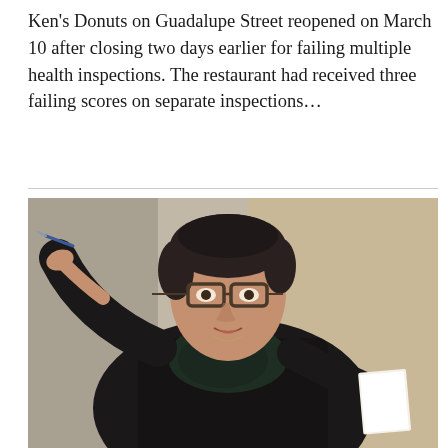Ken's Donuts on Guadalupe Street reopened on March 10 after closing two days earlier for failing multiple health inspections. The restaurant had received three failing scores on separate inspections...
[Figure (photo): A woman with short dark hair and glasses wearing a black blazer over a dark patterned top, holding a pen in her raised left hand and papers in her right hand, appearing to speak or present.]